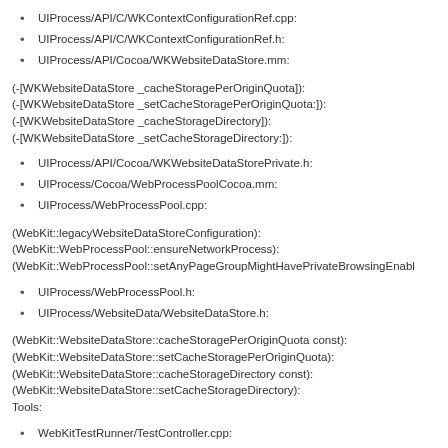UIProcess/API/C/WKContextConfigurationRef.cpp:
UIProcess/API/C/WKContextConfigurationRef.h:
UIProcess/API/Cocoa/WKWebsiteDataStore.mm:
(-[WKWebsiteDataStore _cacheStoragePerOriginQuota]):
(-[WKWebsiteDataStore _setCacheStoragePerOriginQuota:]):
(-[WKWebsiteDataStore _cacheStorageDirectory]):
(-[WKWebsiteDataStore _setCacheStorageDirectory:]):
UIProcess/API/Cocoa/WKWebsiteDataStorePrivate.h:
UIProcess/Cocoa/WebProcessPoolCocoa.mm:
UIProcess/WebProcessPool.cpp:
(WebKit::legacyWebsiteDataStoreConfiguration):
(WebKit::WebProcessPool::ensureNetworkProcess):
(WebKit::WebProcessPool::setAnyPageGroupMightHavePrivateBrowsingEnabl
UIProcess/WebProcessPool.h:
UIProcess/WebsiteData/WebsiteDataStore.h:
(WebKit::WebsiteDataStore::cacheStoragePerOriginQuota const):
(WebKit::WebsiteDataStore::setCacheStoragePerOriginQuota):
(WebKit::WebsiteDataStore::cacheStorageDirectory const):
(WebKit::WebsiteDataStore::setCacheStorageDirectory):
Tools:
WebKitTestRunner/TestController.cpp:
(WTR::TestController::generateContextConfiguration const):